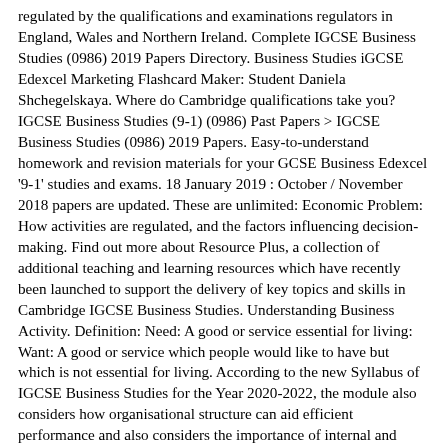regulated by the qualifications and examinations regulators in England, Wales and Northern Ireland. Complete IGCSE Business Studies (0986) 2019 Papers Directory. Business Studies iGCSE Edexcel Marketing Flashcard Maker: Student Daniela Shchegelskaya. Where do Cambridge qualifications take you? IGCSE Business Studies (9-1) (0986) Past Papers > IGCSE Business Studies (0986) 2019 Papers. Easy-to-understand homework and revision materials for your GCSE Business Edexcel '9-1' studies and exams. 18 January 2019 : October / November 2018 papers are updated. These are unlimited: Economic Problem: How activities are regulated, and the factors influencing decision-making. Find out more about Resource Plus, a collection of additional teaching and learning resources which have recently been launched to support the delivery of key topics and skills in Cambridge IGCSE Business Studies. Understanding Business Activity. Definition: Need: A good or service essential for living: Want: A good or service which people would like to have but which is not essential for living. According to the new Syllabus of IGCSE Business Studies for the Year 2020-2022, the module also considers how organisational structure can aid efficient performance and also considers the importance of internal and external communication within the business. "The AQA (8132) GCSE Business Studies specification gives students the opportunity to explore real business issues and how businesses work. The IGCSE Business Studies curriculum has been created with certain assessment objectives in... Please note that if you